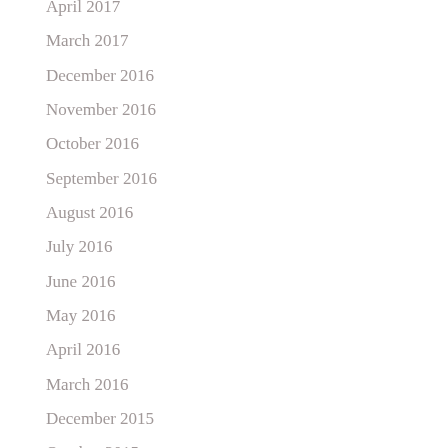April 2017
March 2017
December 2016
November 2016
October 2016
September 2016
August 2016
July 2016
June 2016
May 2016
April 2016
March 2016
December 2015
October 2015
September 2015